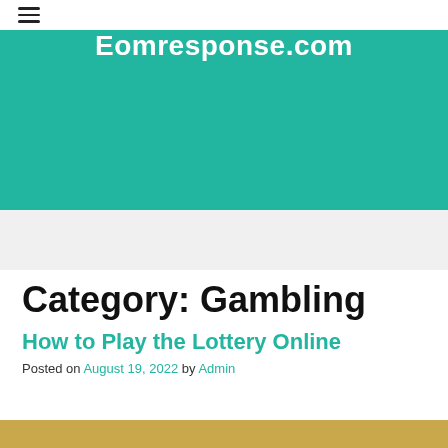☰
Eomresponse.com
Category: Gambling
How to Play the Lottery Online
Posted on August 19, 2022 by Admin
[Figure (photo): Thumbnail image at the bottom of the page, partially visible]